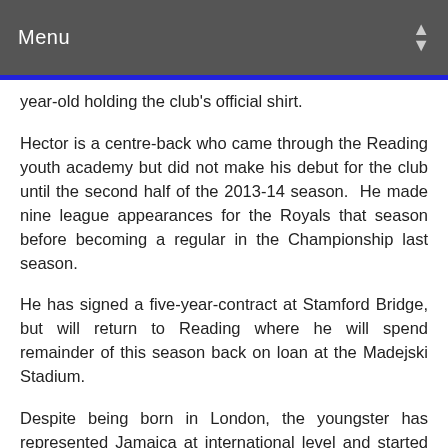Menu
year-old holding the club's official shirt.
Hector is a centre-back who came through the Reading youth academy but did not make his debut for the club until the second half of the 2013-14 season.  He made nine league appearances for the Royals that season before becoming a regular in the Championship last season.
He has signed a five-year-contract at Stamford Bridge, but will return to Reading where he will spend remainder of this season back on loan at the Madejski Stadium.
Despite being born in London, the youngster has represented Jamaica at international level and started all three of their matches at this summer's Copa América.